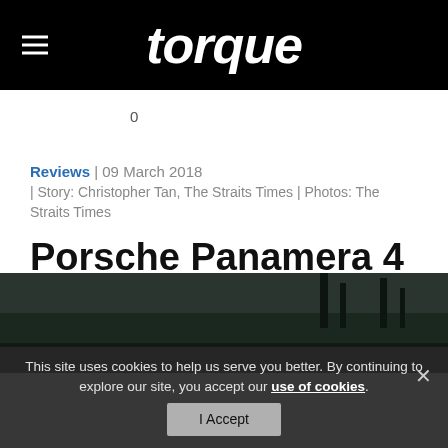torque
0
Reviews | 09 March 2018
| Story: Christopher Tan, The Straits Times | Photos: The Straits Times
Porsche Panamera 4 Sport Turismo rocks
[Figure (photo): Dark outdoor photo of a car, partially visible at the bottom of the page]
This site uses cookies to help us serve you better. By continuing to explore our site, you accept our use of cookies. I Accept